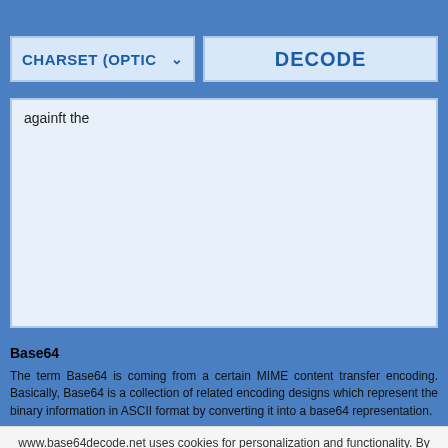[Figure (screenshot): Top blue bar (partial UI element from above)]
[Figure (screenshot): Controls row with CHARSET (OPTION) dropdown and DECODE button on blue background]
againft the
Base64
The term Base64 is coming from a certain MIME content transfer encoding. Basically, Base64 is a collection of related encoding designs which represent the binary information in ASCII format by converting it into a base64 representation.
www.base64decode.net uses cookies for personalization and functionality. By continuing using this website, you agree to our use of cookies. More info